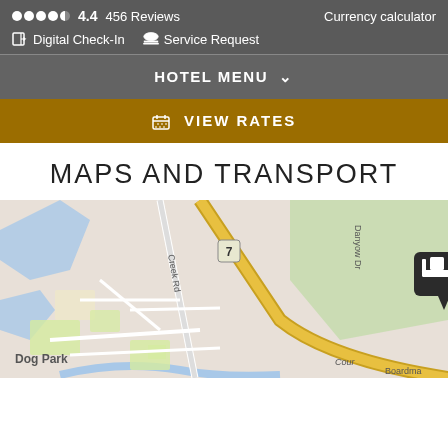●●●●◑  4.4  456 Reviews    Currency calculator
Digital Check-In   Service Request
HOTEL MENU ∨
📅 VIEW RATES
MAPS AND TRANSPORT
[Figure (map): Street map showing hotel location marker near Rogers Rd and Creek Rd intersection, with route 7, Danyow Dr, Dog Park visible. Hotel pin icon displayed prominently.]